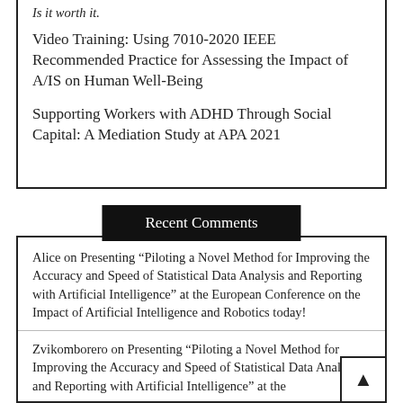Is it worth it.
Video Training: Using 7010-2020 IEEE Recommended Practice for Assessing the Impact of A/IS on Human Well-Being
Supporting Workers with ADHD Through Social Capital: A Mediation Study at APA 2021
Recent Comments
Alice on Presenting “Piloting a Novel Method for Improving the Accuracy and Speed of Statistical Data Analysis and Reporting with Artificial Intelligence” at the European Conference on the Impact of Artificial Intelligence and Robotics today!
Zvikomborero on Presenting “Piloting a Novel Method for Improving the Accuracy and Speed of Statistical Data Analysis and Reporting with Artificial Intelligence” at the